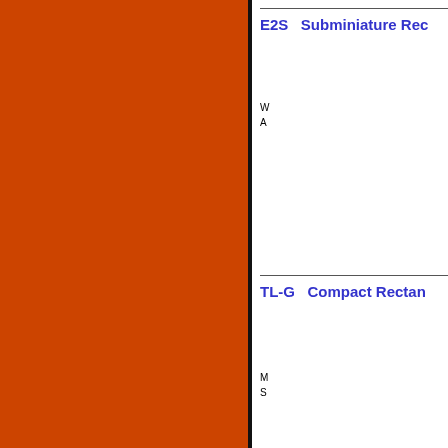[Figure (other): Orange/burnt-orange vertical color bar occupying the left portion of the page]
E2S   Subminiature Rec
W
A
TL-G   Compact Rectan
M
S